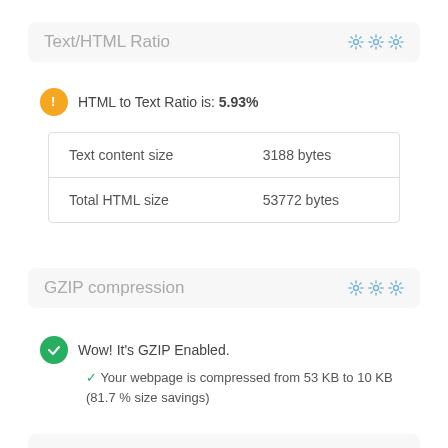Text/HTML Ratio
HTML to Text Ratio is: 5.93%
| Text content size | 3188 bytes |
| Total HTML size | 53772 bytes |
GZIP compression
Wow! It's GZIP Enabled.
✔ Your webpage is compressed from 53 KB to 10 KB (81.7 % size savings)